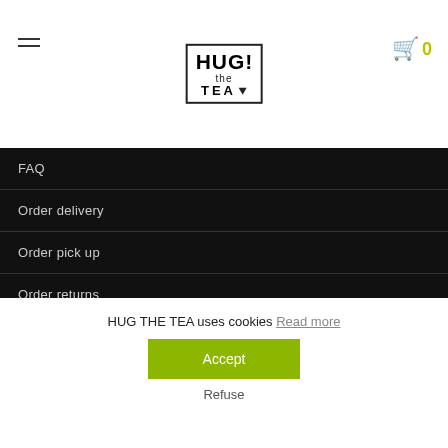[Figure (logo): HUG the TEA logo — bold text in a rectangle border with exclamation mark]
FAQ
Order delivery
Order pick up
Order returns
Order Tracking
Terms and Conditions
Privacy & Cookie Statement
HUG THE TEA uses cookies Read more
Accept
Refuse